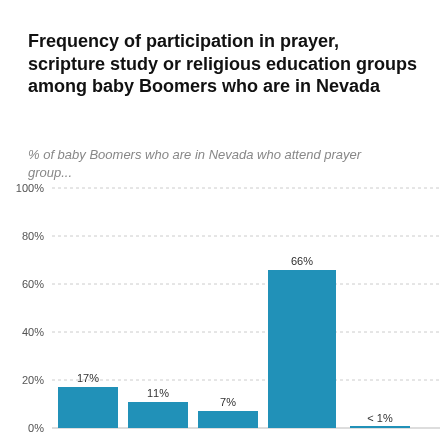Frequency of participation in prayer, scripture study or religious education groups among baby Boomers who are in Nevada
% of baby Boomers who are in Nevada who attend prayer group...
[Figure (bar-chart): Frequency of participation in prayer, scripture study or religious education groups among baby Boomers who are in Nevada]